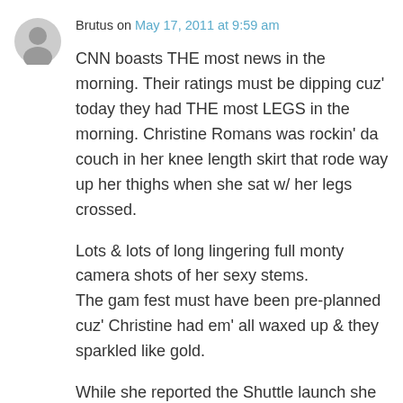Brutus on May 17, 2011 at 9:59 am
CNN boasts THE most news in the morning. Their ratings must be dipping cuz' today they had THE most LEGS in the morning. Christine Romans was rockin' da couch in her knee length skirt that rode way up her thighs when she sat w/ her legs crossed.
Lots & lots of long lingering full monty camera shots of her sexy stems.
The gam fest must have been pre-planned cuz' Christine had em' all waxed up & they sparkled like gold.
While she reported the Shuttle launch she wore a devilish grin, she was probably thinking to